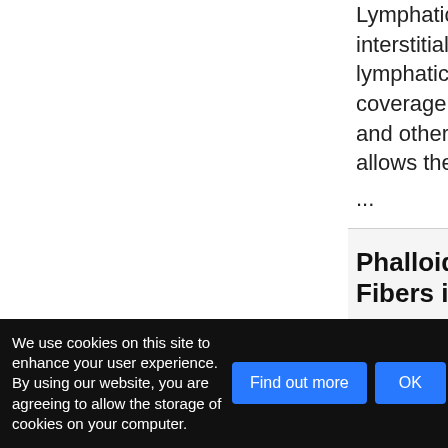Lymphatic ve... interstitial flu... lymphatic vess... coverage with... and other lym... allows the
...
Phalloidin St... Fibers in Cae...
Authors: Mario ...
[Abstract]
Advances in C... different hum...
We use cookies on this site to enhance your user experience. By using our website, you are agreeing to allow the storage of cookies on your computer.